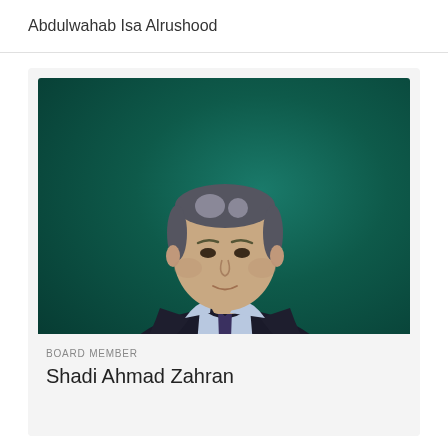Abdulwahab Isa Alrushood
[Figure (photo): Professional headshot of a man in a dark suit with light blue shirt and dark tie, against a teal/dark green background. The man appears to be in his 40s-50s with grey-flecked hair.]
BOARD MEMBER
Shadi Ahmad Zahran